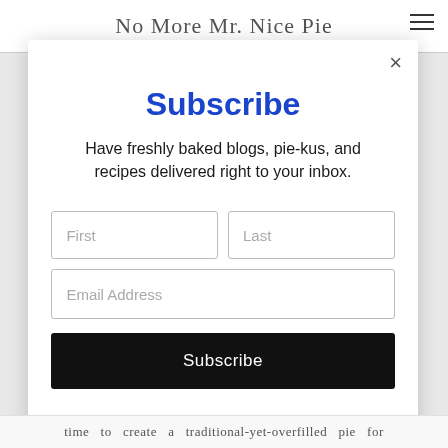No More Mr. Nice Pie
Subscribe
Have freshly baked blogs, pie-kus, and recipes delivered right to your inbox.
First
Last
Email Address
Subscribe
time to create a traditional-yet-overfilled pie for